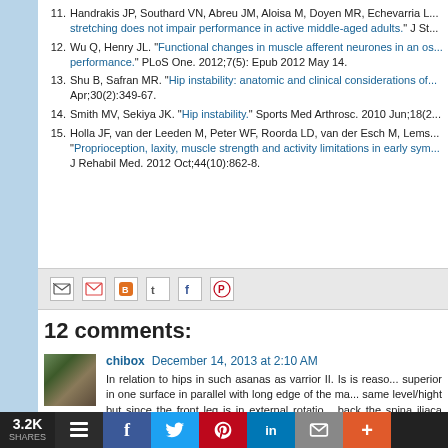11. Handrakis JP, Southard VN, Abreu JM, Aloisa M, Doyen MR, Echevarria L... stretching does not impair performance in active middle-aged adults. J St...
12. Wu Q, Henry JL. Functional changes in muscle afferent neurones in an os... performance. PLoS One. 2012;7(5): Epub 2012 May 14.
13. Shu B, Safran MR. Hip instability: anatomic and clinical considerations of... Apr;30(2):349-67.
14. Smith MV, Sekiya JK. Hip instability. Sports Med Arthrosc. 2010 Jun;18(2...
15. Holla JF, van der Leeden M, Peter WF, Roorda LD, van der Esch M, Lems... Proprioception, laxity, muscle strength and activity limitations in early sym... J Rehabil Med. 2012 Oct;44(10):862-8.
[Figure (screenshot): Share bar with email and social media icons (Gmail, Blogger, Twitter, Facebook, Pinterest)]
12 comments:
chibox  December 14, 2013 at 2:10 AM
In relation to hips in such asanas as varrior II. Is is reaso... superior in one surface in parallel with long edge of the ma... same level/hight but since the front leg is in external rotatio... back the spina iliaca anterior superior of the back leg . Hope